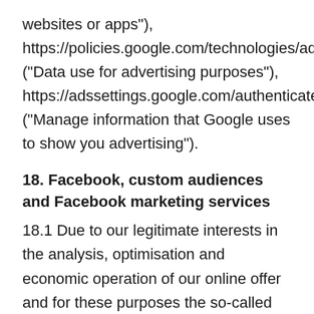websites or apps"), https://policies.google.com/technologies/ads ("Data use for advertising purposes"), https://adssettings.google.com/authenticated ("Manage information that Google uses to show you advertising").
18. Facebook, custom audiences and Facebook marketing services
18.1 Due to our legitimate interests in the analysis, optimisation and economic operation of our online offer and for these purposes the so-called "Facebook pixel" of the social network Facebook, which is operated by Facebook Inc., 1 Hacker Way, Menlo Park, CA 94025, USA, or, if you are based in the EU, Facebook Ireland Ltd., 4 Grand Canal Square, Grand